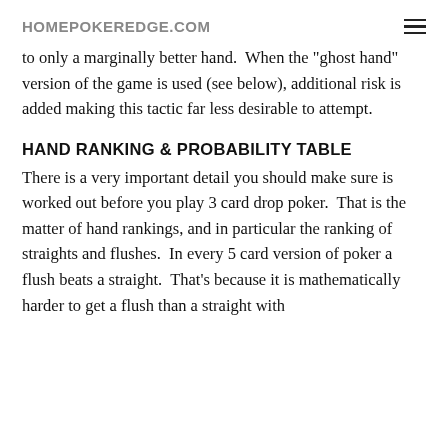HOMEPOKEREDGE.COM
to only a marginally better hand.  When the "ghost hand" version of the game is used (see below), additional risk is added making this tactic far less desirable to attempt.
HAND RANKING & PROBABILITY TABLE
There is a very important detail you should make sure is worked out before you play 3 card drop poker.  That is the matter of hand rankings, and in particular the ranking of straights and flushes.  In every 5 card version of poker a flush beats a straight.  That's because it is mathematically harder to get a flush than a straight with